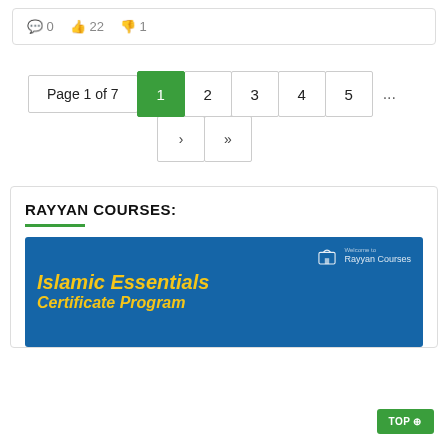0 comments, 22 likes, 1 dislike
Page 1 of 7  1  2  3  4  5  ...  >  >>
RAYYAN COURSES:
[Figure (illustration): Blue banner image for Rayyan Courses showing 'Islamic Essentials Certificate Program' text in gold/yellow italic font with Rayyan Courses logo in top right corner]